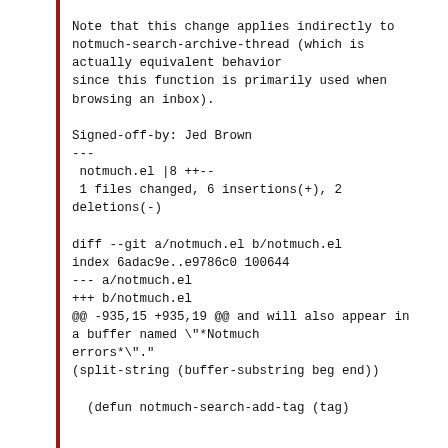Note that this change applies indirectly to
notmuch-search-archive-thread (which is
actually equivalent behavior
since this function is primarily used when
browsing an inbox).

Signed-off-by: Jed Brown
---
 notmuch.el |8 ++--
 1 files changed, 6 insertions(+), 2
deletions(-)

diff --git a/notmuch.el b/notmuch.el
index 6adac9e..e9786c0 100644
--- a/notmuch.el
+++ b/notmuch.el
@@ -935,15 +935,19 @@ and will also appear in
a buffer named \"*Notmuch
errors*\"."
(split-string (buffer-substring beg end))

  (defun notmuch-search-add-tag (tag)